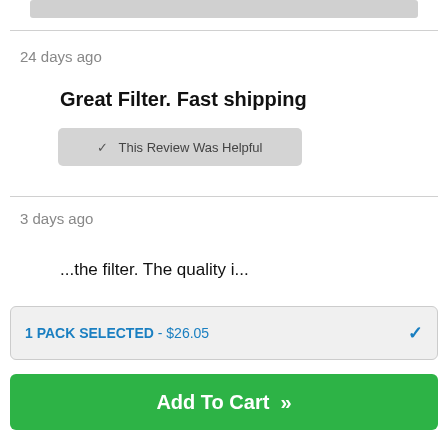[Figure (screenshot): Partial review UI showing a gray rounded rectangle button at top]
24 days ago
Great Filter. Fast shipping
[Figure (screenshot): Gray button labeled 'This Review Was Helpful' with a chevron]
3 days ago
Partial review text (cut off)
1 PACK SELECTED - $26.05
Add To Cart »